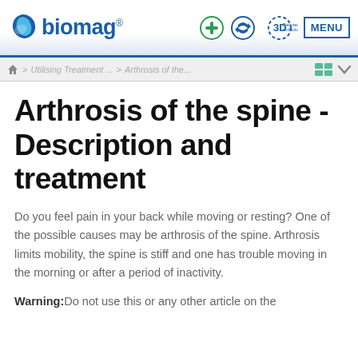biomag® — navigation icons and MENU button
> Utilising Treatment ... > Arthrosis of the...
Arthrosis of the spine - Description and treatment
Do you feel pain in your back while moving or resting? One of the possible causes may be arthrosis of the spine. Arthrosis limits mobility, the spine is stiff and one has trouble moving in the morning or after a period of inactivity.
Warning: Do not use this or any other article on the